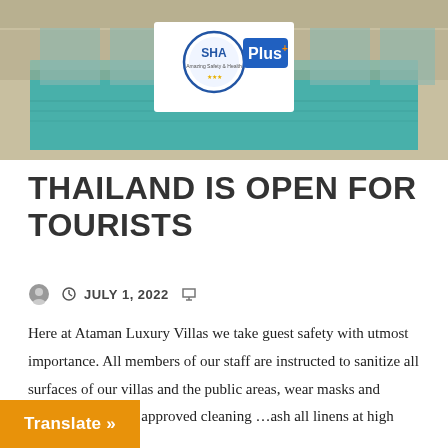[Figure (photo): Luxury villa swimming pool with glass walls and covered patio area, with SHA Plus certification badge overlay]
THAILAND IS OPEN FOR TOURISTS
JULY 1, 2022
Here at Ataman Luxury Villas we take guest safety with utmost importance. All members of our staff are instructed to sanitize all surfaces of our villas and the public areas, wear masks and rubber gloves, use approved cleaning …ash all linens at high heat settings